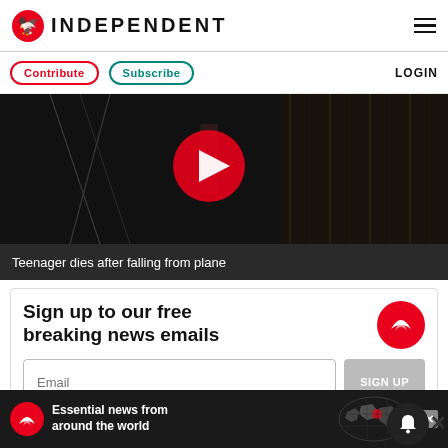INDEPENDENT
Contribute  Subscribe  LOGIN
[Figure (screenshot): Dark video thumbnail with a red play button in the center and a silhouette figure visible]
Teenager dies after falling from plane
Sign up to our free breaking news emails
Email  SIGN UP
[Figure (infographic): Bottom ad banner: Independent eagle logo with text 'Essential news from around the world' and a world map graphic with close X button]